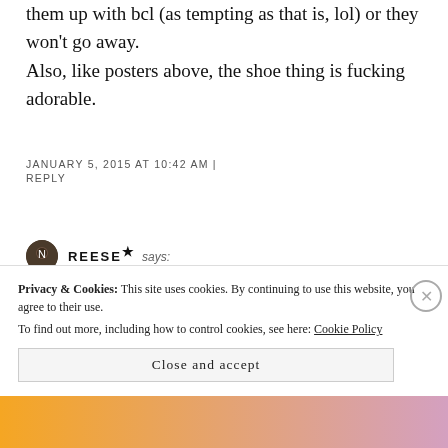them up with bcl (as tempting as that is, lol) or they won't go away. Also, like posters above, the shoe thing is fucking adorable.
JANUARY 5, 2015 AT 10:42 AM | REPLY
REESE★ says:
maybe i don't trust him but when things like this keep
Privacy & Cookies: This site uses cookies. By continuing to use this website, you agree to their use. To find out more, including how to control cookies, see here: Cookie Policy
Close and accept